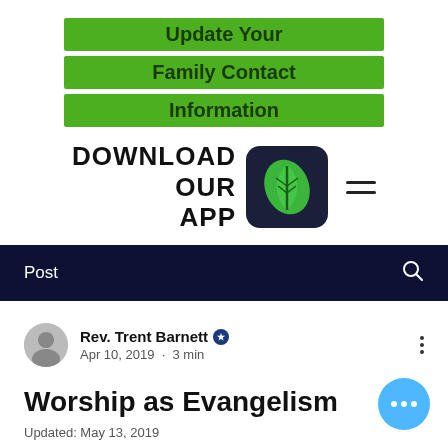[Figure (screenshot): Green banner with text 'Update Your Family Contact Information']
DOWNLOAD OUR APP
[Figure (logo): Green leaf app icon on dark navy background]
Post
Rev. Trent Barnett · Apr 10, 2019 · 3 min
Worship as Evangelism
Updated: May 13, 2019
Many times, our worship of God is primarily expressed through the songs